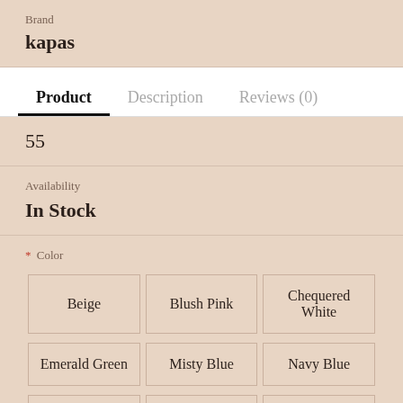Brand
kapas
Product
Description
Reviews (0)
55
Availability
In Stock
* Color
Beige
Blush Pink
Chequered White
Emerald Green
Misty Blue
Navy Blue
Snow White
Stone
Whisper Grey
Quantity
1